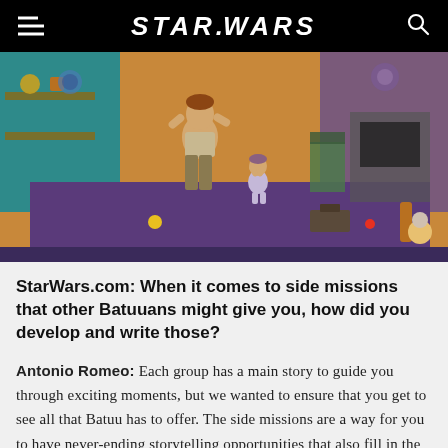STAR WARS
[Figure (screenshot): Screenshot from The Sims 4 Star Wars: Journey to Batuu game pack showing two Sims characters — an adult dancing and a toddler with arms raised — in a room decorated with Star Wars memorabilia, including a blue/purple carpet, toys scattered on the floor, and various Star Wars items in the background.]
StarWars.com: When it comes to side missions that other Batuuans might give you, how did you develop and write those?
Antonio Romeo: Each group has a main story to guide you through exciting moments, but we wanted to ensure that you get to see all that Batuu has to offer. The side missions are a way for you to have never-ending storytelling opportunities that also fill in the gaps for the Story Missions. One of my favorite side missions is actually one you can get from Savi's